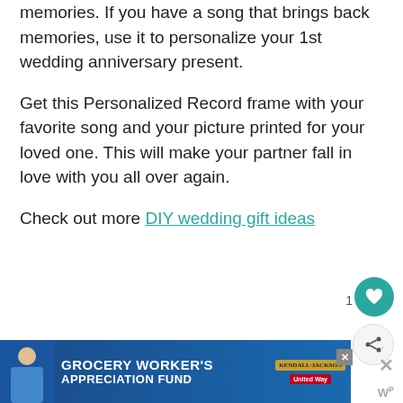memories. If you have a song that brings back memories, use it to personalize your 1st wedding anniversary present.
Get this Personalized Record frame with your favorite song and your picture printed for your loved one. This will make your partner fall in love with you all over again.
Check out more DIY wedding gift ideas
6. Docking Station
[Figure (other): Advertisement banner: Grocery Worker's Appreciation Fund featuring Kendall-Jackson and United Way logos, with a person image on the left.]